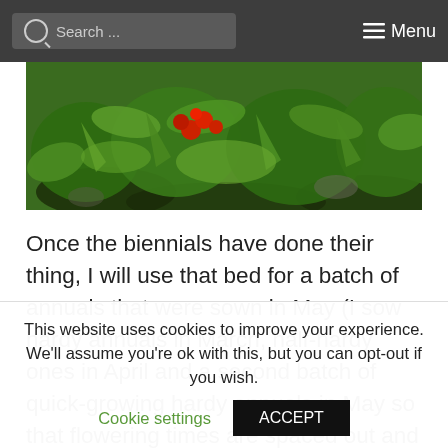Search ... Menu
[Figure (photo): Garden photo showing red flowers and green foliage with dark soil]
Once the biennials have done their thing, I will use that bed for a batch of annuals that were sown in May (I sow hardy annuals in March, half-hardy ones in April and a second batch of quick-growing hardy annuals in May so that flowering times are spaced out and the cutting season is prolonged for as long
This website uses cookies to improve your experience. We'll assume you're ok with this, but you can opt-out if you wish. Cookie settings ACCEPT